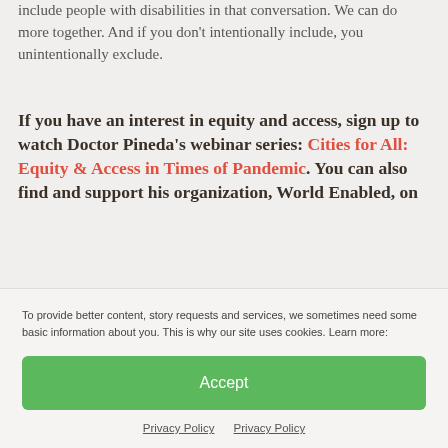include people with disabilities in that conversation. We can do more together. And if you don't intentionally include, you unintentionally exclude.
If you have an interest in equity and access, sign up to watch Doctor Pineda's webinar series: Cities for All: Equity & Access in Times of Pandemic. You can also find and support his organization, World Enabled, on
To provide better content, story requests and services, we sometimes need some basic information about you. This is why our site uses cookies. Learn more:
Accept
Privacy Policy   Privacy Policy